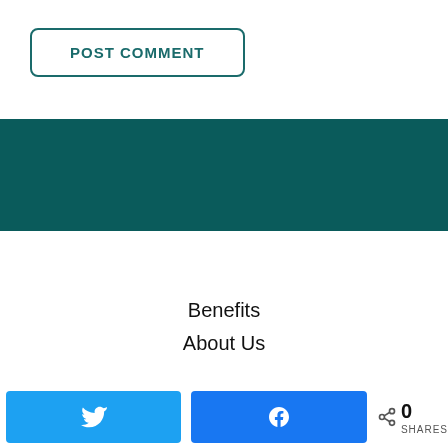POST COMMENT
[Figure (other): Teal/dark green solid color banner strip]
Benefits
About Us
[Figure (other): Social sharing bar with Twitter button, Facebook button, share icon and 0 SHARES count]